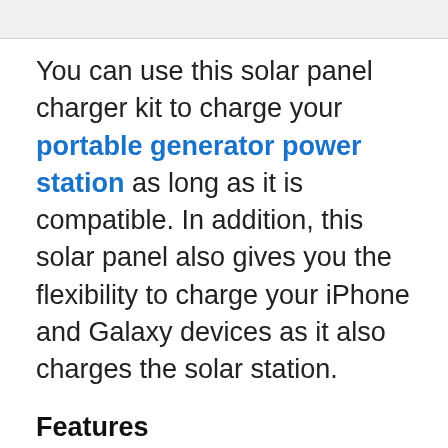You can use this solar panel charger kit to charge your portable generator power station as long as it is compatible. In addition, this solar panel also gives you the flexibility to charge your iPhone and Galaxy devices as it also charges the solar station.
Features
By design, this is like a collection of multiple solar panels, actually 12 of them with a fabric backing. Collectively, they